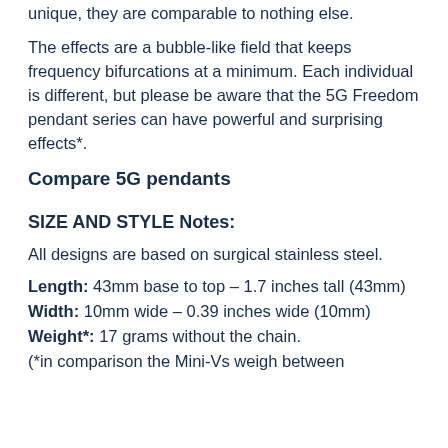unique, they are comparable to nothing else.
The effects are a bubble-like field that keeps frequency bifurcations at a minimum. Each individual is different, but please be aware that the 5G Freedom pendant series can have powerful and surprising effects*.
Compare 5G pendants
SIZE AND STYLE Notes:
All designs are based on surgical stainless steel.
Length: 43mm base to top – 1.7 inches tall (43mm)
Width: 10mm wide – 0.39 inches wide (10mm)
Weight*: 17 grams without the chain.
(*in comparison the Mini-Vs weigh between